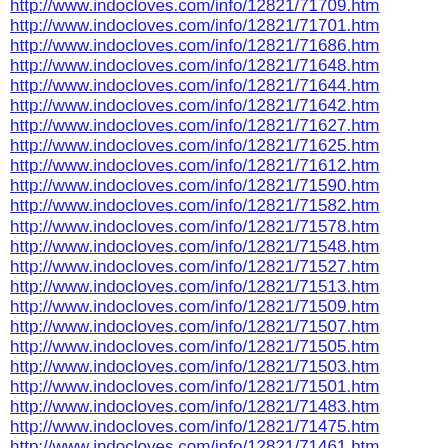http://www.indocloves.com/info/12821/71709.htm
http://www.indocloves.com/info/12821/71701.htm
http://www.indocloves.com/info/12821/71686.htm
http://www.indocloves.com/info/12821/71648.htm
http://www.indocloves.com/info/12821/71644.htm
http://www.indocloves.com/info/12821/71642.htm
http://www.indocloves.com/info/12821/71627.htm
http://www.indocloves.com/info/12821/71625.htm
http://www.indocloves.com/info/12821/71612.htm
http://www.indocloves.com/info/12821/71590.htm
http://www.indocloves.com/info/12821/71582.htm
http://www.indocloves.com/info/12821/71578.htm
http://www.indocloves.com/info/12821/71548.htm
http://www.indocloves.com/info/12821/71527.htm
http://www.indocloves.com/info/12821/71513.htm
http://www.indocloves.com/info/12821/71509.htm
http://www.indocloves.com/info/12821/71507.htm
http://www.indocloves.com/info/12821/71505.htm
http://www.indocloves.com/info/12821/71503.htm
http://www.indocloves.com/info/12821/71501.htm
http://www.indocloves.com/info/12821/71483.htm
http://www.indocloves.com/info/12821/71475.htm
http://www.indocloves.com/info/12821/71461.htm
http://www.indocloves.com/info/12821/71446.htm
http://www.indocloves.com/info/12821/71444.htm